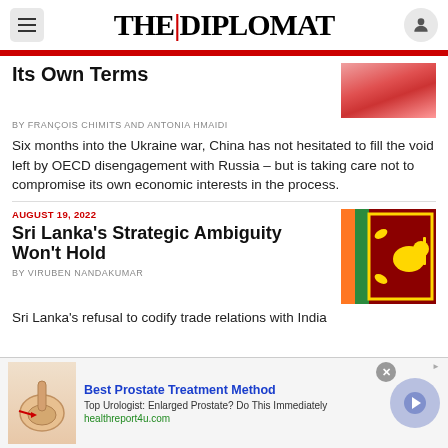THE DIPLOMAT
Its Own Terms
By FRANCOIS CHIMITS and ANTONIA HMAIDI
Six months into the Ukraine war, China has not hesitated to fill the void left by OECD disengagement with Russia – but is taking care not to compromise its own economic interests in the process.
AUGUST 19, 2022
Sri Lanka's Strategic Ambiguity Won't Hold
By VIRUBEN NANDAKUMAR
Sri Lanka's refusal to codify trade relations with India
Best Prostate Treatment Method
Top Urologist: Enlarged Prostate? Do This Immediately
healthreport4u.com